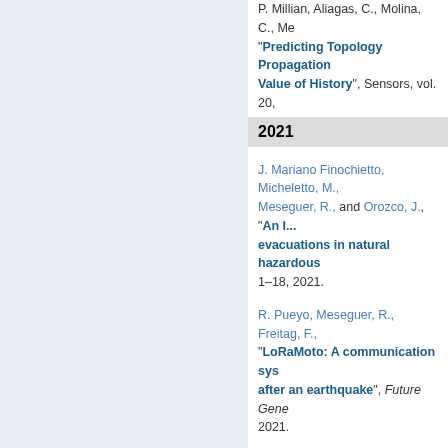P. Millian, Aliagas, C., Molina, C., Me... "Predicting Topology Propagation... Value of History", Sensors, vol. 20,
2021
J. Mariano Finochietto, Micheletto, M., Meseguer, R., and Orozco, J., "An I... evacuations in natural hazardous... 1–18, 2021.
R. Pueyo, Meseguer, R., Freitag, F., "LoRaMoto: A communication sys... after an earthquake", Future Gene... 2021.
« firs